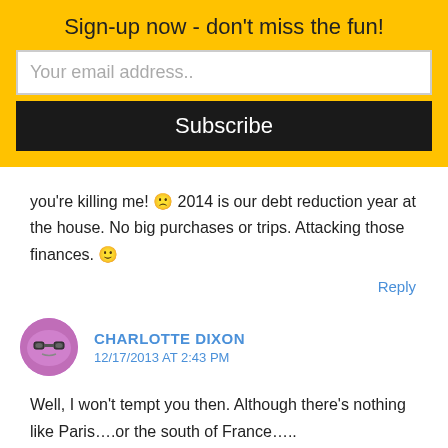Sign-up now - don't miss the fun!
Your email address..
Subscribe
you're killing me! 🙁 2014 is our debt reduction year at the house. No big purchases or trips. Attacking those finances. 🙂
Reply
[Figure (illustration): Purple round avatar icon with glasses]
CHARLOTTE DIXON
12/17/2013 AT 2:43 PM
Well, I won't tempt you then.  Although there's nothing like Paris….or the south of France…..